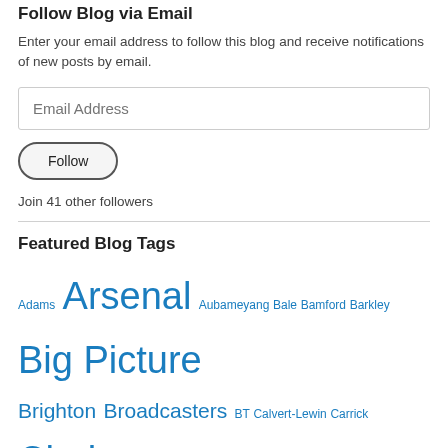Follow Blog via Email
Enter your email address to follow this blog and receive notifications of new posts by email.
Email Address
Follow
Join 41 other followers
Featured Blog Tags
Adams Arsenal Aubameyang Bale Bamford Barkley Big Picture Brighton Broadcasters BT Calvert-Lewin Carrick Chelsea Children City Community Shield England Everton FA Ferguson Fulham Gambling Government Grealish Ings Ireland Jota Kane Klopp Lamela League Cup